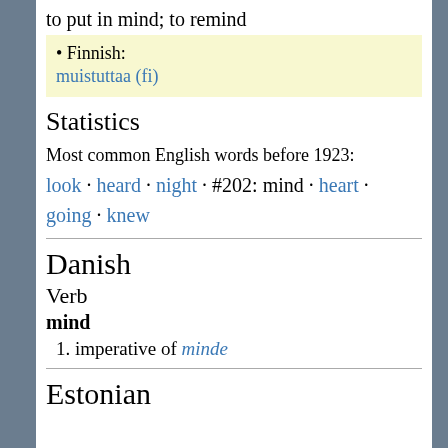to put in mind; to remind
Finnish: muistuttaa (fi)
Statistics
Most common English words before 1923: look · heard · night · #202: mind · heart · going · knew
Danish
Verb
mind
1. imperative of minde
Estonian